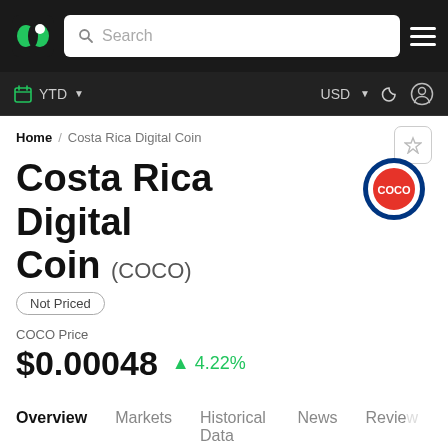Search navigation bar with YTD, USD selectors
Home / Costa Rica Digital Coin
Costa Rica Digital Coin (COCO)
Not Priced
COCO Price
$0.00048  ↑ 4.22%
Overview  Markets  Historical Data  News  Review
RANK   MARKET CAP (YTD)   VOLUME (YTD)   CIRCULATIN